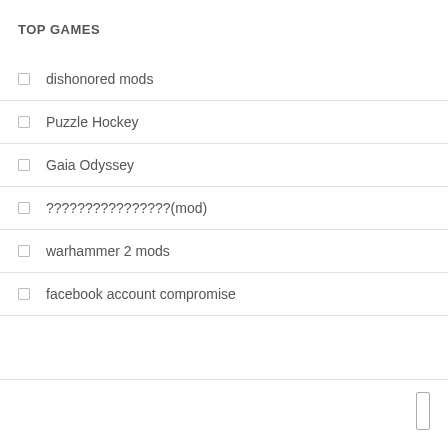TOP GAMES
dishonored mods
Puzzle Hockey
Gaia Odyssey
????????????????(mod)
warhammer 2 mods
facebook account compromise